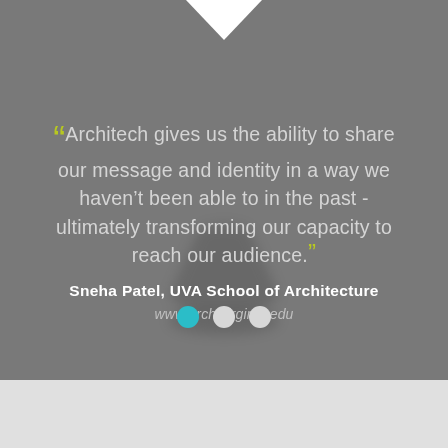[Figure (illustration): Testimonial slide with gray background, white downward triangle at top, blurred vase/bottle silhouette shadow, quotation text, attribution, URL, and navigation dots]
“Architech gives us the ability to share our message and identity in a way we haven’t been able to in the past - ultimately transforming our capacity to reach our audience.”
Sneha Patel, UVA School of Architecture
www.arch.virginia.edu